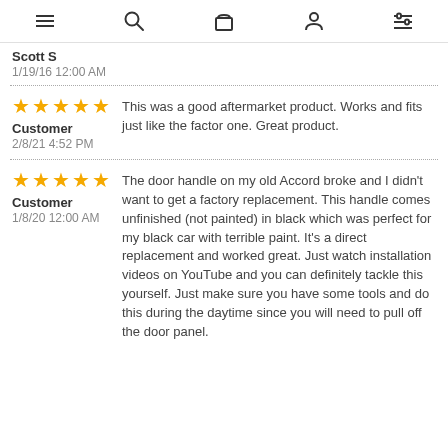Navigation bar with menu, search, bag, account, and filter icons
Scott S
1/19/16 12:00 AM
★★★★★
This was a good aftermarket product. Works and fits just like the factor one. Great product.
Customer
2/8/21 4:52 PM
★★★★★
The door handle on my old Accord broke and I didn't want to get a factory replacement. This handle comes unfinished (not painted) in black which was perfect for my black car with terrible paint. It's a direct replacement and worked great. Just watch installation videos on YouTube and you can definitely tackle this yourself. Just make sure you have some tools and do this during the daytime since you will need to pull off the door panel.
Customer
1/8/20 12:00 AM